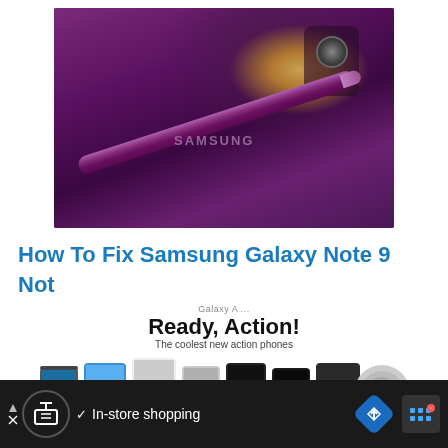[Figure (photo): Samsung Galaxy Note 9 in purple color with S Pen stylus resting on back of phone, showing Samsung branding and dual camera module]
How To Fix Samsung Galaxy Note 9 Not Getting Emails
[Figure (photo): Samsung promotional banner showing Galaxy A series phones with text 'Ready, Action! The coolest new action phones']
[Figure (screenshot): Ad banner at bottom showing Google Maps/store app advertisement with 'In-store shopping' text and navigation icons]